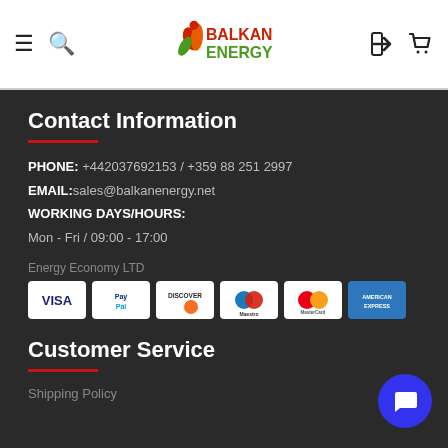[Figure (logo): Balkan Energy logo with flame/leaf icon in red, orange and green, with bold red and green text]
Contact Information
PHONE: +442037692153 / +359 88 251 2997
EMAIL: sales@balkanenergy.net
WORKING DAYS/HOURS:
Mon - Fri / 09:00 - 17:00
Energy Economy LTD
[Figure (other): Payment method icons: VISA, PayPal, Discover, Maestro, MasterCard, American Express]
Customer Service
Shipping Policy